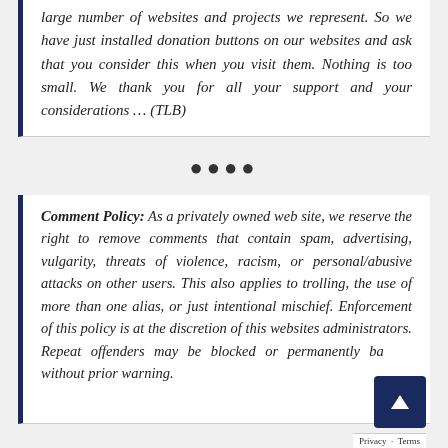large number of websites and projects we represent. So we have just installed donation buttons on our websites and ask that you consider this when you visit them. Nothing is too small. We thank you for all your support and your considerations ... (TLB)
••••
Comment Policy: As a privately owned web site, we reserve the right to remove comments that contain spam, advertising, vulgarity, threats of violence, racism, or personal/abusive attacks on other users. This also applies to trolling, the use of more than one alias, or just intentional mischief. Enforcement of this policy is at the discretion of this websites administrators. Repeat offenders may be blocked or permanently banned without prior warning.